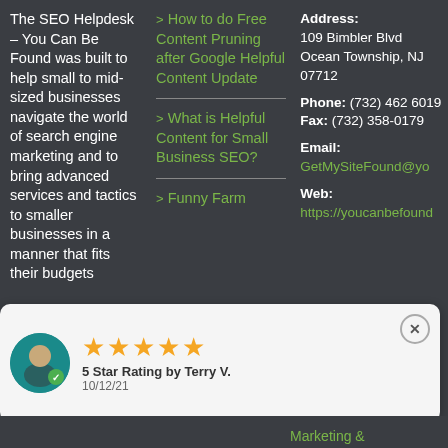The SEO Helpdesk – You Can Be Found was built to help small to mid-sized businesses navigate the world of search engine marketing and to bring advanced services and tactics to smaller businesses in a manner that fits their budgets
> How to do Free Content Pruning after Google Helpful Content Update
> What is Helpful Content for Small Business SEO?
> Funny Farm Marketing &
Address: 109 Bimbler Blvd Ocean Township, NJ 07712 Phone: (732) 462 6019 Fax: (732) 358-0179 Email: GetMySiteFound@yo... Web: https://youcanbefound...
[Figure (infographic): Review widget popup showing 5 gold stars, '5 Star Rating by Terry V.' dated 10/12/21, with a teal avatar icon with green checkmark, and a close button (X)]